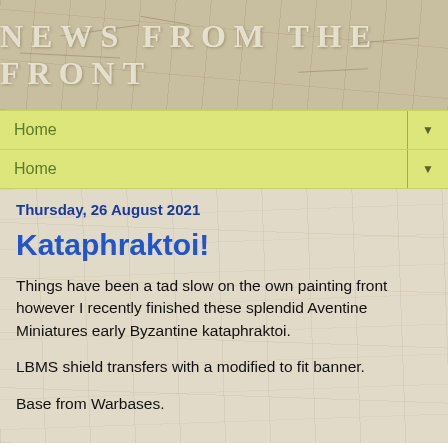NEWS FROM THE FRONT
Home ▼
Home ▼
Thursday, 26 August 2021
Kataphraktoi!
Things have been a tad slow on the own painting front however I recently finished these splendid Aventine Miniatures early Byzantine kataphraktoi.
LBMS shield transfers with a modified to fit banner.
Base from Warbases.